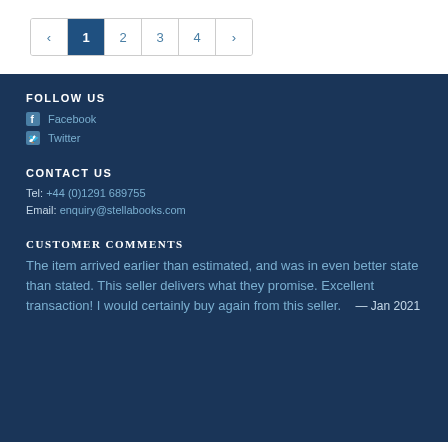[Figure (other): Pagination control showing pages: back arrow, 1 (active/highlighted), 2, 3, 4, forward arrow]
FOLLOW US
Facebook
Twitter
CONTACT US
Tel: +44 (0)1291 689755
Email: enquiry@stellabooks.com
CUSTOMER COMMENTS
The item arrived earlier than estimated, and was in even better state than stated. This seller delivers what they promise. Excellent transaction! I would certainly buy again from this seller. — Jan 2021